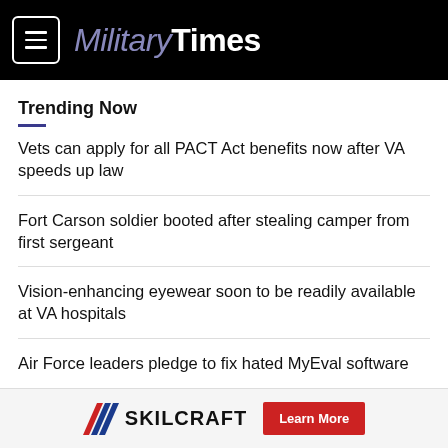MilitaryTimes
Trending Now
Vets can apply for all PACT Act benefits now after VA speeds up law
Fort Carson soldier booted after stealing camper from first sergeant
Vision-enhancing eyewear soon to be readily available at VA hospitals
Air Force leaders pledge to fix hated MyEval software
[Figure (logo): SKILCRAFT logo with diagonal stripe icon and 'Learn More' red button advertisement banner]